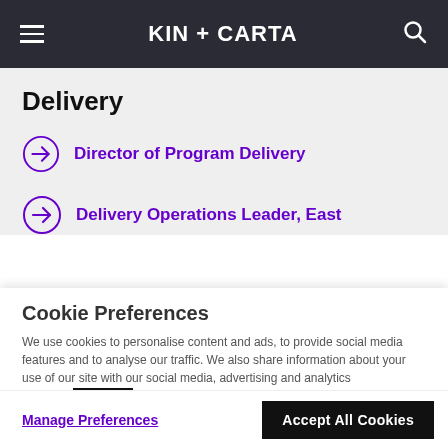KIN + CARTA
Delivery
Director of Program Delivery
Delivery Operations Leader, East
Cookie Preferences
We use cookies to personalise content and ads, to provide social media features and to analyse our traffic. We also share information about your use of our site with our social media, advertising and analytics partners. Read our Cookie Policy
Manage Preferences
Accept All Cookies